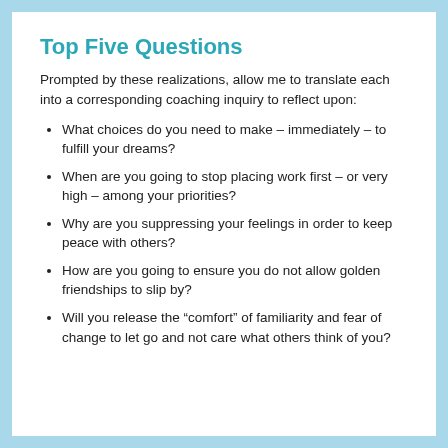Top Five Questions
Prompted by these realizations, allow me to translate each into a corresponding coaching inquiry to reflect upon:
What choices do you need to make – immediately – to fulfill your dreams?
When are you going to stop placing work first – or very high – among your priorities?
Why are you suppressing your feelings in order to keep peace with others?
How are you going to ensure you do not allow golden friendships to slip by?
Will you release the “comfort” of familiarity and fear of change to let go and not care what others think of you?